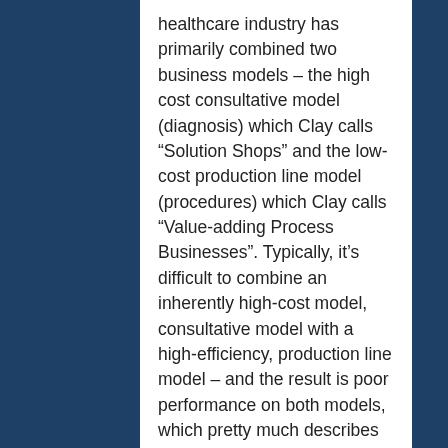healthcare industry has primarily combined two business models – the high cost consultative model (diagnosis) which Clay calls “Solution Shops” and the low-cost production line model (procedures) which Clay calls “Value-adding Process Businesses”. Typically, it’s difficult to combine an inherently high-cost model, consultative model with a high-efficiency, production line model – and the result is poor performance on both models, which pretty much describes our health care system today – high cost with poor outcomes.